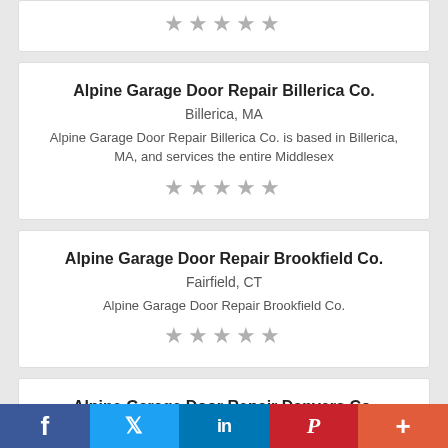★★★★★
Alpine Garage Door Repair Billerica Co.
Billerica, MA
Alpine Garage Door Repair Billerica Co. is based in Billerica, MA, and services the entire Middlesex
★★★★★
Alpine Garage Door Repair Brookfield Co.
Fairfield, CT
Alpine Garage Door Repair Brookfield Co.
★★★★★
Alpine Garage Door Repair Danvers Co.
f  🐦  in  P  +